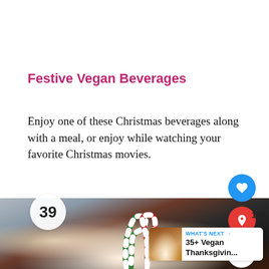Festive Vegan Beverages
Enjoy one of these Christmas beverages along with a meal, or enjoy while watching your favorite Christmas movies.
[Figure (photo): A festive food/drink in a dark skillet or bowl, decorated with candy canes in red, white, and green, topped with whipped cream and crushed peppermint, with a Christmas holiday theme. A badge showing '39' appears in the upper left. UI overlay buttons for heart/like (149), share, and a 'What's Next' card for '35+ Vegan Thanksgivin...' are visible.]